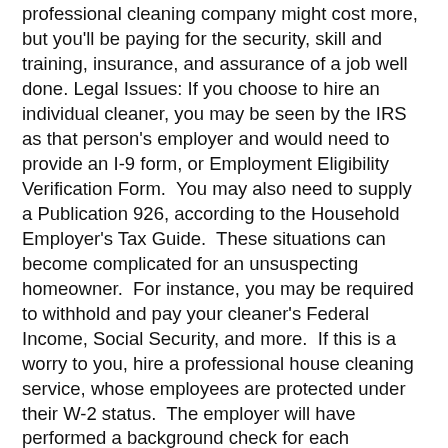professional cleaning company might cost more, but you'll be paying for the security, skill and training, insurance, and assurance of a job well done. Legal Issues: If you choose to hire an individual cleaner, you may be seen by the IRS as that person's employer and would need to provide an I-9 form, or Employment Eligibility Verification Form. You may also need to supply a Publication 926, according to the Household Employer's Tax Guide. These situations can become complicated for an unsuspecting homeowner. For instance, you may be required to withhold and pay your cleaner's Federal Income, Social Security, and more. If this is a worry to you, hire a professional house cleaning service, whose employees are protected under their W-2 status. The employer will have performed a background check for each employee and will have the correct strictures in place regarding income, withholding, and the other issues a homeowner should not have to worry about.